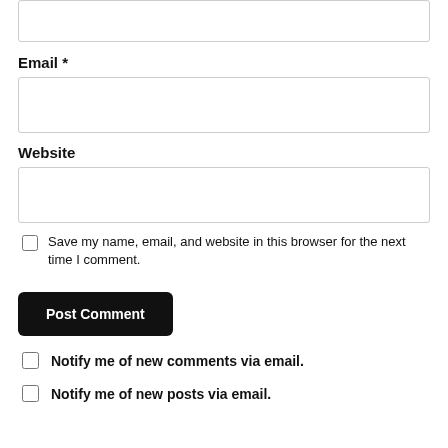(text area input box at top)
Email *
(email input box)
Website
(website input box)
Save my name, email, and website in this browser for the next time I comment.
Post Comment
Notify me of new comments via email.
Notify me of new posts via email.